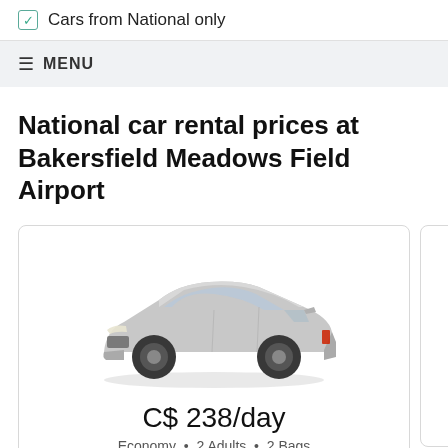Cars from National only
MENU
National car rental prices at Bakersfield Meadows Field Airport
[Figure (photo): Silver economy hatchback car shown from a front three-quarter angle]
C$ 238/day
Economy • 2 Adults • 2 Bags